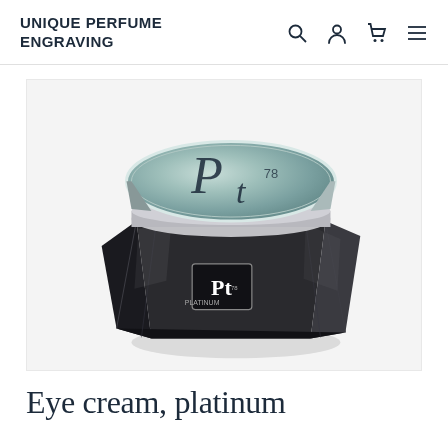UNIQUE PERFUME ENGRAVING
[Figure (photo): A luxury skincare jar with a black faceted glass body and a round silver/platinum lid engraved with 'Pt 78' in large script letters. The jar label also shows a 'Pt' logo in a square. The product appears to be an eye cream or face cream from a platinum-branded cosmetics line.]
Eye cream, platinum